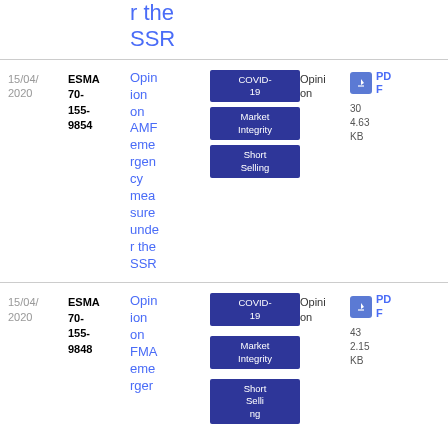r the SSR
| Date | Reference | Title | Tags | Type | Download |
| --- | --- | --- | --- | --- | --- |
| 15/04/2020 | ESMA 70-155-9854 | Opinion on AMF emergency measure under the SSR | COVID-19 / Market Integrity / Short Selling | Opinion | PDF 304.63 KB |
| 15/04/2020 | ESMA 70-155-9848 | Opinion on FMA emer... | COVID-19 / Market Integrity / Short Selling | Opinion | PDF 432.15 KB |